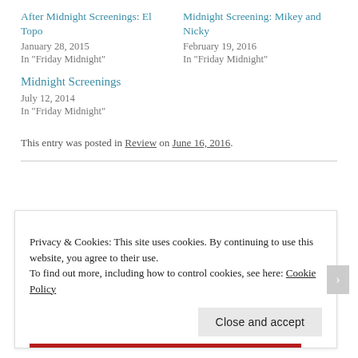After Midnight Screenings: El Topo
January 28, 2015
In "Friday Midnight"
Midnight Screening: Mikey and Nicky
February 19, 2016
In "Friday Midnight"
Midnight Screenings
July 12, 2014
In "Friday Midnight"
This entry was posted in Review on June 16, 2016.
Privacy & Cookies: This site uses cookies. By continuing to use this website, you agree to their use.
To find out more, including how to control cookies, see here: Cookie Policy